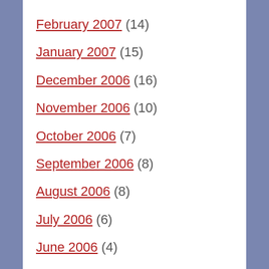February 2007 (14)
January 2007 (15)
December 2006 (16)
November 2006 (10)
October 2006 (7)
September 2006 (8)
August 2006 (8)
July 2006 (6)
June 2006 (4)
May 2006 (13)